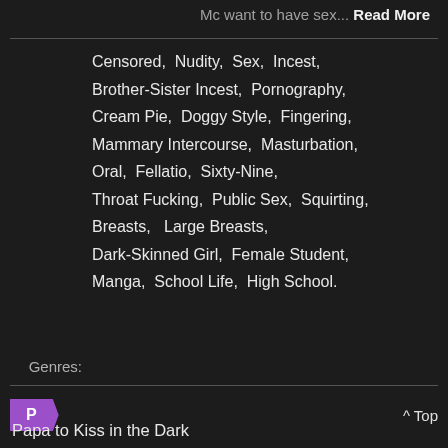Mc want to have sex... Read More
Genres: Censored, Nudity, Sex, Incest, Brother-Sister Incest, Pornography, Cream Pie, Doggy Style, Fingering, Mammary Intercourse, Masturbation, Oral, Fellatio, Sixty-Nine, Throat Fucking, Public Sex, Squirting, Breasts, Large Breasts, Dark-Skinned Girl, Female Student, Manga, School Life, High School.
P
^ Top
Papa to Kiss in the Dark